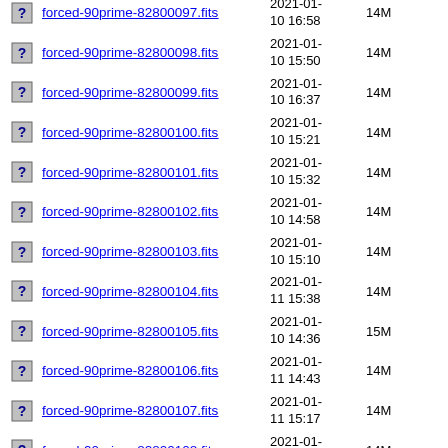forced-90prime-82800097.fits 2021-01-10 16:58 14M
forced-90prime-82800098.fits 2021-01-10 15:50 14M
forced-90prime-82800099.fits 2021-01-10 16:37 14M
forced-90prime-82800100.fits 2021-01-10 15:21 14M
forced-90prime-82800101.fits 2021-01-10 15:32 14M
forced-90prime-82800102.fits 2021-01-10 14:58 14M
forced-90prime-82800103.fits 2021-01-10 15:10 14M
forced-90prime-82800104.fits 2021-01-11 15:38 14M
forced-90prime-82800105.fits 2021-01-10 14:36 15M
forced-90prime-82800106.fits 2021-01-11 14:43 14M
forced-90prime-82800107.fits 2021-01-11 15:17 14M
forced-90prime-82800108.fits 2021-01-11 12:26 14M